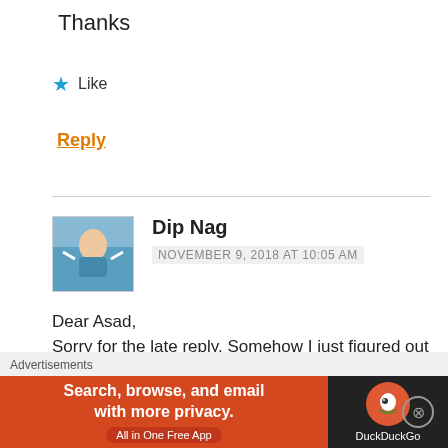Thanks
★ Like
Reply
Dip Nag
NOVEMBER 9, 2018 AT 10:05 AM
Dear Asad,
Sorry for the late reply. Somehow I just figured out that mh previous reply was not published by the WP app. You do not get any decision notification as such. You are.mailed directly by the UKVI that your Passport has been dispatched along with the tracking number. Next
[Figure (infographic): DuckDuckGo advertisement banner: 'Search, browse, and email with more privacy. All in One Free App' on orange background, DuckDuckGo logo on dark background]